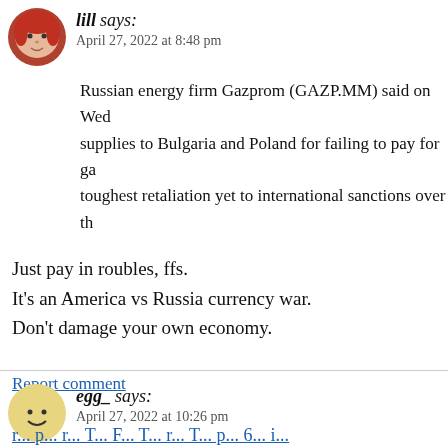lill says: April 27, 2022 at 8:48 pm
Russian energy firm Gazprom (GAZP.MM) said on Wed... supplies to Bulgaria and Poland for failing to pay for gas... toughest retaliation yet to international sanctions over th...
Just pay in roubles, ffs.
It's an America vs Russia currency war.
Don't damage your own economy.
Report comment
egg_ says: April 27, 2022 at 10:26 pm